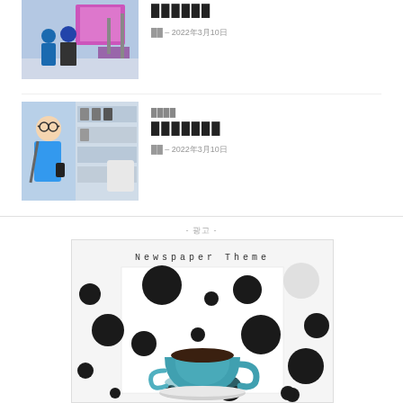[Figure (photo): People in an electronics store with large display screens]
██████
██ – 2022年3月10日
████
[Figure (photo): Man in blue shirt looking at phone in electronics store with headphones display]
███████
██ – 2022年3月10日
- 광고 -
[Figure (other): Newspaper Theme advertisement with polka dots and teacup]